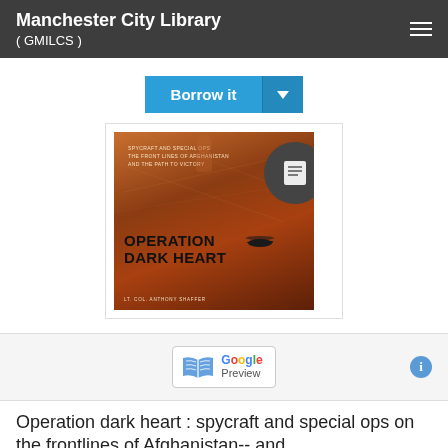Manchester City Library ( GMILCS )
Borrow it
[Figure (illustration): Book cover for 'Operation Dark Heart' by Lt. Col. Anthony Shaffer with an overlaid circular badge icon showing a book/document symbol]
[Figure (logo): Google Preview button with book icon]
Operation dark heart : spycraft and special ops on the frontlines of Afghanistan-- and